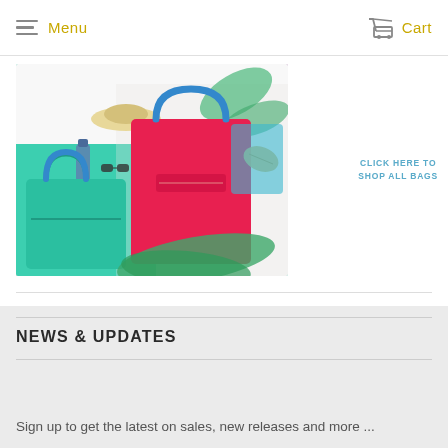Menu   Cart
[Figure (photo): Colorful summer handbags (green and pink/red) with tropical leaves, a hat, sunglasses, and water bottle on a white background. Text overlay: CLICK HERE TO SHOP ALL BAGS]
FOLLOW US ON INSTAGRAM
NEWS & UPDATES
Sign up to get the latest on sales, new releases and more ...